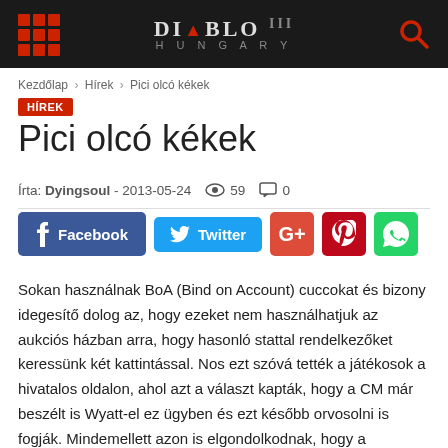[Figure (logo): Diablo III Hungary website header with dark background, grid/menu icon on left, Diablo III Hungary logo in center, red search icon on right]
Kezdőlap › Hírek › Pici olcó kékek
HÍREK
Pici olcó kékek
Írta: Dyingsoul - 2013-05-24   59   0
[Figure (infographic): Social media share buttons: Facebook, Twitter, Google+, Pinterest, WhatsApp]
Sokan használnak BoA (Bind on Account) cuccokat és bizony idegesítő dolog az, hogy ezeket nem használhatjuk az aukciós házban arra, hogy hasonló stattal rendelkezőket keressünk két kattintással. Nos ezt szóvá tették a játékosok a hivatalos oldalon, ahol azt a választ kapták, hogy a CM már beszélt is Wyatt-el ez ügyben és ezt később orvosolni is fogják. Mindemellett azon is elgondolkodnak, hogy a socketekben lévő gemeket figyelmen kívül hagyja a dps összehasonlító rendszer. (Marq gemek eltávolításáért nagyobb összegeket is kellene fizetnünk.)